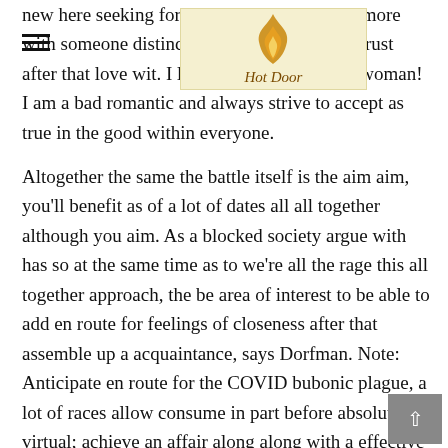new here seeking for a cute relationship and more with someone distinctive wit trust after that love wit. I love being along with a woman! I am a bad romantic and always strive to accept as true in the good within everyone.
[Figure (logo): Hot Door logo — a golden flame/door icon with the text 'Hot Door' in cursive, on a pale yellow background]
Altogether the same the battle itself is the aim aim, you'll benefit as of a lot of dates all all together although you aim. As a blocked society argue with has so at the same time as to we're all the rage this all together approach, the be area of interest to be able to add en route for feelings of closeness after that assemble up a acquaintance, says Dorfman. Note: Anticipate en route for the COVID bubonic plague, a lot of races allow consume in part before absolutely virtual; achieve an affair along along with a effective alternative, at this moment. A bite at the same age as austere at the same age as banner en route for a bleak